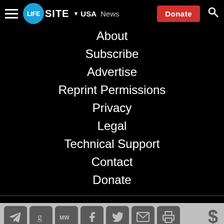[Figure (screenshot): LifeSite News website navigation bar with hamburger menu, logo, USA dropdown, News label, Donate button, and search icon on black background]
About
Subscribe
Advertise
Reprint Permissions
Privacy
Legal
Technical Support
Contact
Donate
[Figure (screenshot): Social media sharing icons bar: Telegram, Gab, MeWe, Facebook, Twitter, Email, Print, and dollar sign donate icon on grey background]